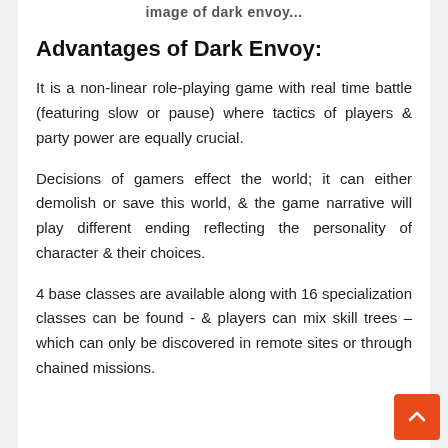image of dark envoy...
Advantages of Dark Envoy:
It is a non-linear role-playing game with real time battle (featuring slow or pause) where tactics of players & party power are equally crucial.
Decisions of gamers effect the world; it can either demolish or save this world, & the game narrative will play different ending reflecting the personality of character & their choices.
4 base classes are available along with 16 specialization classes can be found - & players can mix skill trees – which can only be discovered in remote sites or through chained missions.